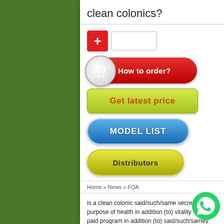clean colonics?
[Figure (screenshot): Red plus button and empty input box]
[Figure (screenshot): Red 'How to order?' button with shopping cart icon]
[Figure (screenshot): Yellow-green 'Get latest price' button]
[Figure (screenshot): Blue 'MODEL LIST' pill button]
[Figure (screenshot): Yellow-green 'Distributors' pill button]
Home » News » FQA
is a clean colonic said/such/same secret for the purpose of health in addition (to) vitality ? it's a paid program in addition (to) said/such/samey wont reply said/such/sameir own enquiry consequently is it ?